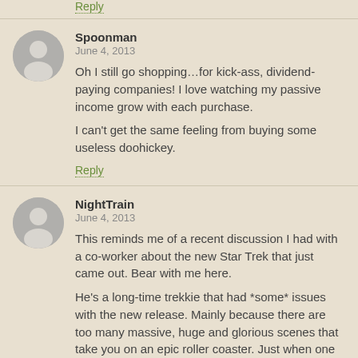Reply
Spoonman
June 4, 2013
Oh I still go shopping…for kick-ass, dividend-paying companies! I love watching my passive income grow with each purchase.
I can't get the same feeling from buying some useless doohickey.
Reply
NightTrain
June 4, 2013
This reminds me of a recent discussion I had with a co-worker about the new Star Trek that just came out. Bear with me here.
He's a long-time trekkie that had *some* issues with the new release. Mainly because there are too many massive, huge and glorious scenes that take you on an epic roller coaster. Just when one ended, the next one began. In the old Trek-world, things would develop slowly. LONG discussions with peaceful missions that resulted